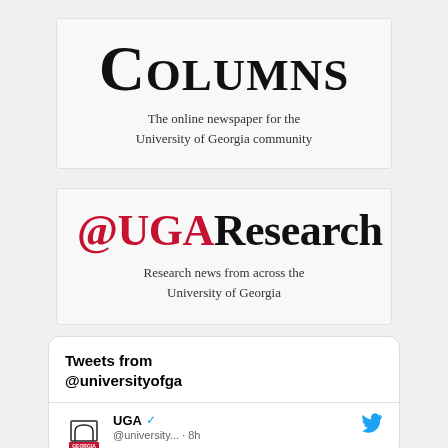[Figure (logo): Columns newspaper logo with large serif text 'COLUMNS' in small caps]
The online newspaper for the University of Georgia community
[Figure (logo): @UGAResearch logo with '@UGA' in red and 'Research' in black serif font]
Research news from across the University of Georgia
Tweets from @universityofga
UGA @university... · 8h